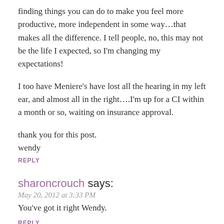finding things you can do to make you feel more productive, more independent in some way…that makes all the difference. I tell people, no, this may not be the life I expected, so I'm changing my expectations!
I too have Meniere's have lost all the hearing in my left ear, and almost all in the right….I'm up for a CI within a month or so, waiting on insurance approval.
thank you for this post.
wendy
REPLY
sharoncrouch says:
May 20, 2012 at 3:33 PM
You've got it right Wendy.
REPLY